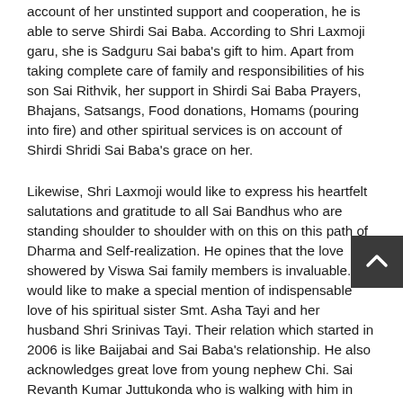account of her unstinted support and cooperation, he is able to serve Shirdi Sai Baba. According to Shri Laxmoji garu, she is Sadguru Sai baba's gift to him. Apart from taking complete care of family and responsibilities of his son Sai Rithvik, her support in Shirdi Sai Baba Prayers, Bhajans, Satsangs, Food donations, Homams (pouring into fire) and other spiritual services is on account of Shirdi Shridi Sai Baba's grace on her.
Likewise, Shri Laxmoji would like to express his heartfelt salutations and gratitude to all Sai Bandhus who are standing shoulder to shoulder with on this on this path of Dharma and Self-realization. He opines that the love showered by Viswa Sai family members is invaluable. He would like to make a special mention of indispensable love of his spiritual sister Smt. Asha Tayi and her husband Shri Srinivas Tayi. Their relation which started in 2006 is like Baijabai and Sai Baba's relationship. He also acknowledges great love from young nephew Chi. Sai Revanth Kumar Juttukonda who is walking with him in Baba's path from his child